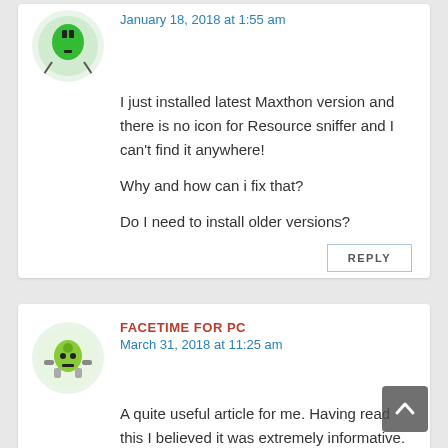January 18, 2018 at 1:55 am
I just installed latest Maxthon version and there is no icon for Resource sniffer and I can't find it anywhere!

Why and how can i fix that?

Do I need to install older versions?
REPLY
FACETIME FOR PC
March 31, 2018 at 11:25 am
A quite useful article for me. Having read this I believed it was extremely informative. I appreciate you taking the time and effort to put this information together. I once again find myself spending way too much time